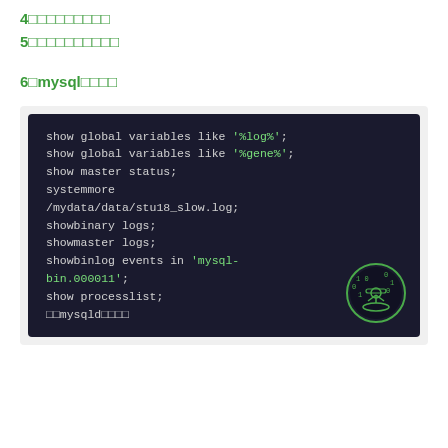4□□□□□□□□□
5□□□□□□□□□□
6□mysql□□□□
[Figure (screenshot): Dark-themed code block showing MySQL commands: show global variables like '%log%'; show global variables like '%gene%'; show master status; systemmore /mydata/data/stu18_slow.log; showbinary logs; showmaster logs; showbinlog events in 'mysql-bin.000011'; show processlist; □□mysqld□□□□]